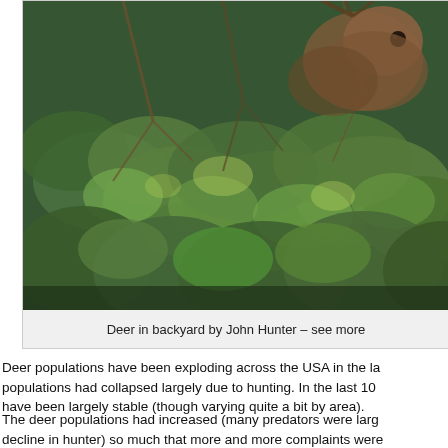[Figure (photo): A deer partially hidden among green leafy bushes and branches in a backyard setting. The deer's head and antlers are visible above the foliage.]
Deer in backyard by John Hunter – see more
Deer populations have been exploding across the USA in the la... populations had collapsed largely due to hunting. In the last 10 have been largely stable (though varying quite a bit by area).
The deer populations had increased (many predators were larg... decline in hunter) so much that more and more complaints were of problems with deer grazing on property and damaging cars w...